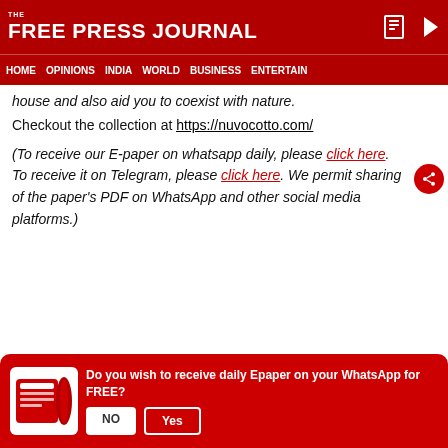THE FREE PRESS JOURNAL
HOME | OPINIONS | INDIA | WORLD | BUSINESS | ENTERTAIN
house and also aid you to coexist with nature.
Checkout the collection at https://nuvocotto.com/
(To receive our E-paper on whatsapp daily, please click here. To receive it on Telegram, please click here. We permit sharing of the paper's PDF on WhatsApp and other social media platforms.)
Do you wish to receive daily Epaper on your WhatsApp for FREE?